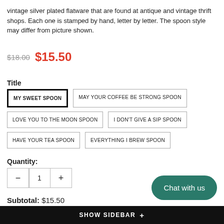vintage silver plated flatware that are found at antique and vintage thrift shops. Each one is stamped by hand, letter by letter. The spoon style may differ from picture shown.
$18.00  $15.50
Title
MY SWEET SPOON
MAY YOUR COFFEE BE STRONG SPOON
LOVE YOU TO THE MOON SPOON
I DON'T GIVE A SIP SPOON
HAVE YOUR TEA SPOON
EVERYTHING I BREW SPOON
Quantity:
1
Subtotal: $15.50
Chat with us
SHOW SIDEBAR +